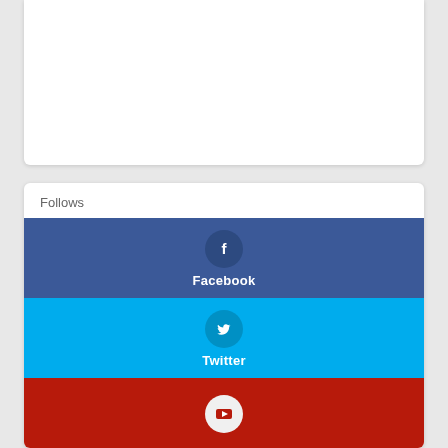[Figure (other): White card area at top of page, partially visible]
Follows
[Figure (other): Facebook social follow button - blue background with Facebook icon and label]
[Figure (other): Twitter social follow button - cyan background with Twitter bird icon and label]
[Figure (other): YouTube social follow button - dark red background with YouTube play icon, partially visible]